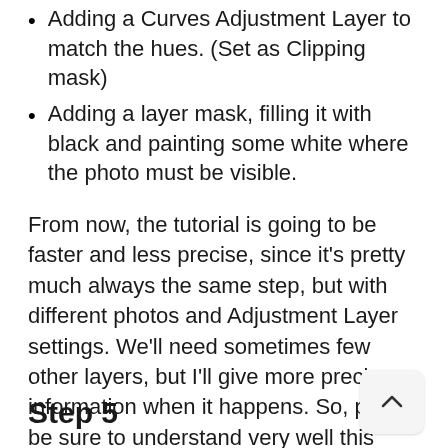Adding a Curves Adjustment Layer to match the hues. (Set as Clipping mask)
Adding a layer mask, filling it with black and painting some white where the photo must be visible.
From now, the tutorial is going to be faster and less precise, since it's pretty much always the same step, but with different photos and Adjustment Layer settings. We'll need sometimes few other layers, but I'll give more precise information when it happens. So, please be sure to understand very well this process.
Step 5